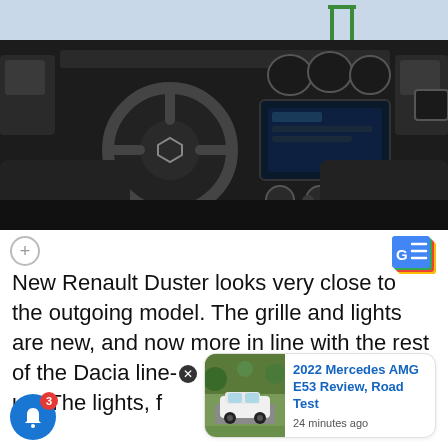[Figure (photo): Interior view of a Renault Duster/Dacia Duster car cabin showing the steering wheel, dashboard, infotainment screen, center console, and front seats in black]
New Renault Duster looks very close to the outgoing model. The grille and lights are new, and now more in line with the rest of the Dacia line-up. The lights, f…r apart
[Figure (photo): Thumbnail of a white 2022 Mercedes AMG E53 car outdoors]
2022 Mercedes AMG E53 Review, Road Test — 24 minutes ago